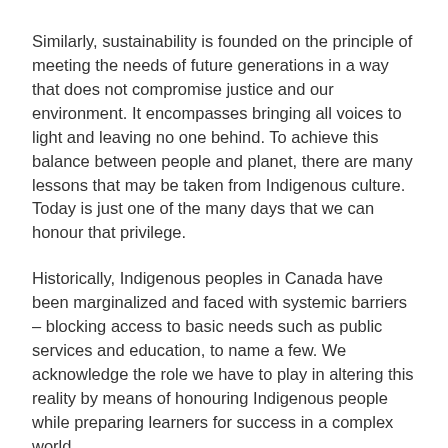Similarly, sustainability is founded on the principle of meeting the needs of future generations in a way that does not compromise justice and our environment. It encompasses bringing all voices to light and leaving no one behind. To achieve this balance between people and planet, there are many lessons that may be taken from Indigenous culture. Today is just one of the many days that we can honour that privilege.
Historically, Indigenous peoples in Canada have been marginalized and faced with systemic barriers – blocking access to basic needs such as public services and education, to name a few. We acknowledge the role we have to play in altering this reality by means of honouring Indigenous people while preparing learners for success in a complex world.
Join the Indigenous Initiatives and Partnerships team at BCIT to honour Indigenous stories, voices and lived experiences.